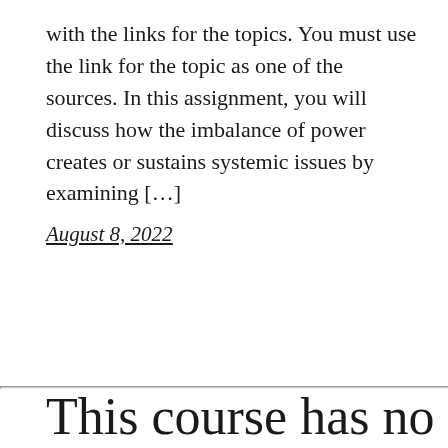with the links for the topics. You must use the link for the topic as one of the sources. In this assignment, you will discuss how the imbalance of power creates or sustains systemic issues by examining […]
August 8, 2022
This course has no